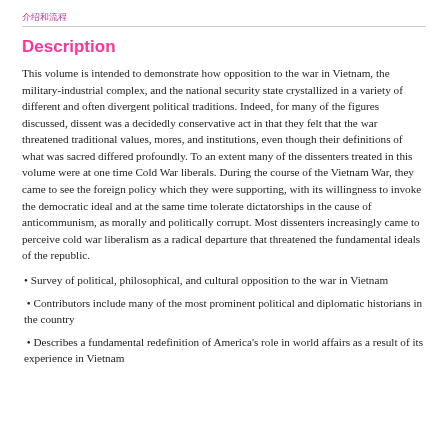介绍和流程
Description
This volume is intended to demonstrate how opposition to the war in Vietnam, the military-industrial complex, and the national security state crystallized in a variety of different and often divergent political traditions. Indeed, for many of the figures discussed, dissent was a decidedly conservative act in that they felt that the war threatened traditional values, mores, and institutions, even though their definitions of what was sacred differed profoundly. To an extent many of the dissenters treated in this volume were at one time Cold War liberals. During the course of the Vietnam War, they came to see the foreign policy which they were supporting, with its willingness to invoke the democratic ideal and at the same time tolerate dictatorships in the cause of anticommunism, as morally and politically corrupt. Most dissenters increasingly came to perceive cold war liberalism as a radical departure that threatened the fundamental ideals of the republic.
• Survey of political, philosophical, and cultural opposition to the war in Vietnam
• Contributors include many of the most prominent political and diplomatic historians in the country
• Describes a fundamental redefinition of America's role in world affairs as a result of its experience in Vietnam